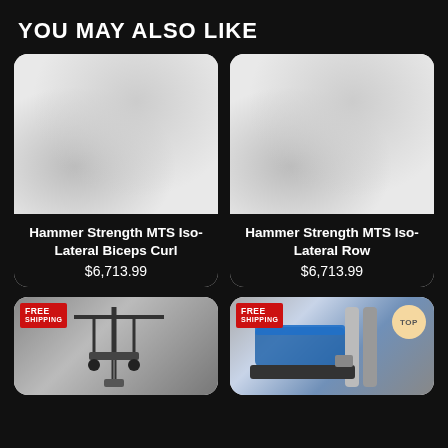YOU MAY ALSO LIKE
[Figure (photo): Product card for Hammer Strength MTS Iso-Lateral Biceps Curl, white card with blurred product image placeholder]
Hammer Strength MTS Iso-Lateral Biceps Curl
$6,713.99
[Figure (photo): Product card for Hammer Strength MTS Iso-Lateral Row, white card with blurred product image placeholder]
Hammer Strength MTS Iso-Lateral Row
$6,713.99
[Figure (photo): Bottom left product card showing gym cable machine with FREE SHIPPING badge]
[Figure (photo): Bottom right product card showing gym bench machine with FREE SHIPPING badge and TOP circle badge]